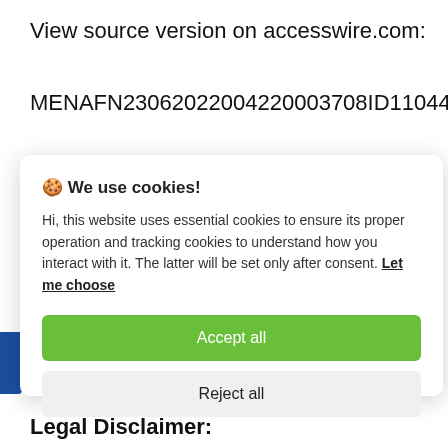View source version on accesswire.com:
MENAFN23062022004220003708ID110442
🍪 We use cookies!

Hi, this website uses essential cookies to ensure its proper operation and tracking cookies to understand how you interact with it. The latter will be set only after consent. Let me choose

[Accept all] [Reject all]
Legal Disclaimer: